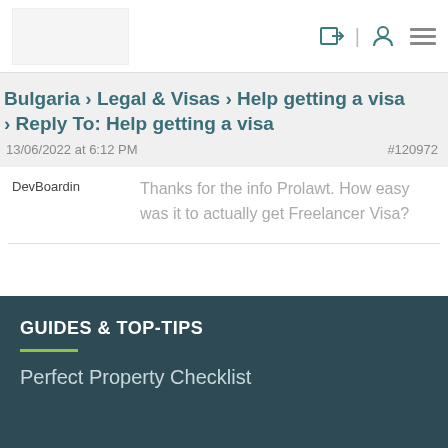Header with logo and navigation icons
Bulgaria › Legal & Visas › Help getting a visa › Reply To: Help getting a visa
13/06/2022 at 6:12 PM   #120972
DevBoardin
Thanks for the info Prolawt. How easy was it to actually get Freelancer Visa?
GUIDES & TOP-TIPS
Perfect Property Checklist